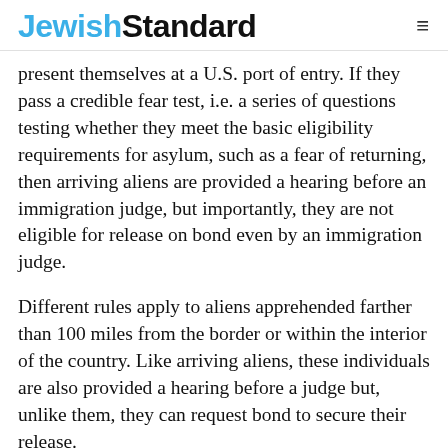JewishStandard
present themselves at a U.S. port of entry. If they pass a credible fear test, i.e. a series of questions testing whether they meet the basic eligibility requirements for asylum, such as a fear of returning, then arriving aliens are provided a hearing before an immigration judge, but importantly, they are not eligible for release on bond even by an immigration judge.
Different rules apply to aliens apprehended farther than 100 miles from the border or within the interior of the country. Like arriving aliens, these individuals are also provided a hearing before a judge but, unlike them, they can request bond to secure their release.